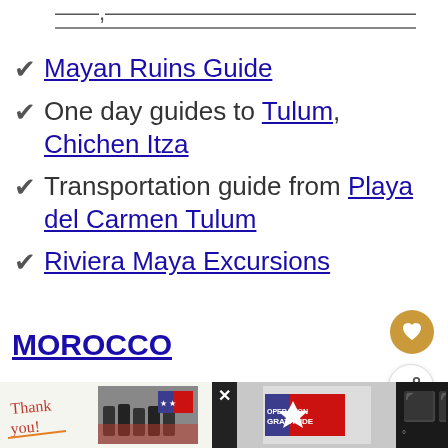✔ Mayan Ruins Guide
✔ One day guides to Tulum, Chichen Itza
✔ Transportation guide from Playa del Carmen Tulum
✔ Riviera Maya Excursions
MOROCCO
✔ Morocco Tips – Essential things before your trip
[Figure (screenshot): Advertisement banner at bottom showing 'Thank you!' with Operation Gratitude imagery and firefighters]
[Figure (other): What's Next widget showing Travel Blog circular thumbnail and label]